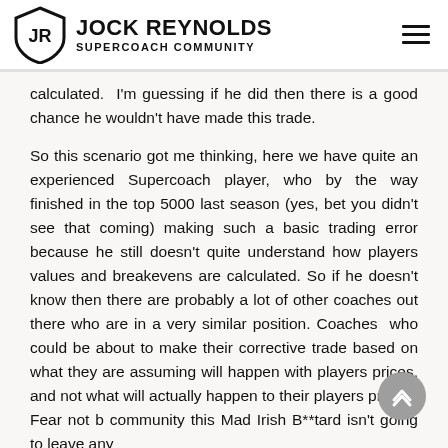JOCK REYNOLDS SUPERCOACH COMMUNITY
calculated.  I'm guessing if he did then there is a good chance he wouldn't have made this trade.
So this scenario got me thinking, here we have quite an experienced Supercoach player, who by the way finished in the top 5000 last season (yes, bet you didn't see that coming) making such a basic trading error because he still doesn't quite understand how players values and breakevens are calculated. So if he doesn't know then there are probably a lot of other coaches out there who are in a very similar position. Coaches  who could be about to make their corrective trade based on what they are assuming will happen with players prices, and not what will actually happen to their players prices.  Fear not b community this Mad Irish B**tard isn't going to leave any